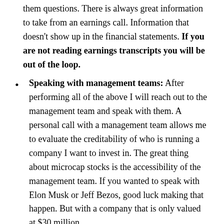them questions. There is always great information to take from an earnings call. Information that doesn't show up in the financial statements. If you are not reading earnings transcripts you will be out of the loop.
Speaking with management teams: After performing all of the above I will reach out to the management team and speak with them. A personal call with a management team allows me to evaluate the creditability of who is running a company I want to invest in. The great thing about microcap stocks is the accessibility of the management team. If you wanted to speak with Elon Musk or Jeff Bezos, good luck making that happen. But with a company that is only valued at $30 million,